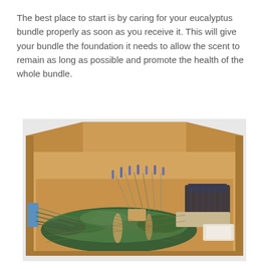The best place to start is by caring for your eucalyptus bundle properly as soon as you receive it. This will give your bundle the foundation it needs to allow the scent to remain as long as possible and promote the health of the whole bundle.
[Figure (photo): An open cardboard shipping box viewed from above, containing several bundled plants including eucalyptus sprigs (green leafy branches), dried lavender or similar purple flowering stems, and other plant materials wrapped in paper and plastic.]